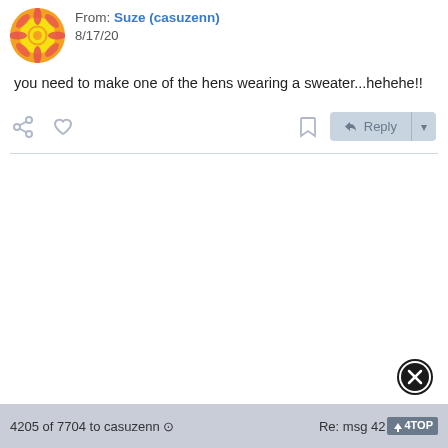From: Suze (casuzenn) 8/17/20
you need to make one of the hens wearing a sweater...hehehe!!
[Figure (screenshot): Action bar with share, like, bookmark, reply buttons]
[Figure (illustration): Close/dismiss circular X button]
4205 of 7704 to casuzenn ⊙   Re: msg 4204  TOP↑